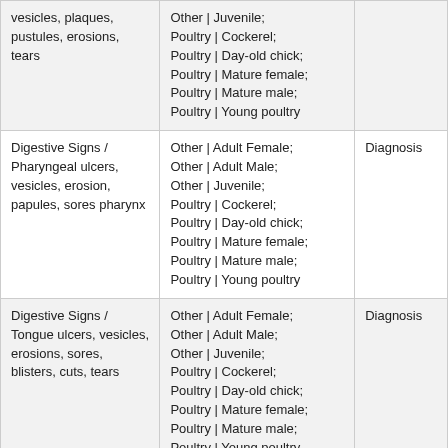| vesicles, plaques, pustules, erosions, tears | Other | Juvenile;
Poultry | Cockerel;
Poultry | Day-old chick;
Poultry | Mature female;
Poultry | Mature male;
Poultry | Young poultry |  |
| Digestive Signs / Pharyngeal ulcers, vesicles, erosion, papules, sores pharynx | Other | Adult Female;
Other | Adult Male;
Other | Juvenile;
Poultry | Cockerel;
Poultry | Day-old chick;
Poultry | Mature female;
Poultry | Mature male;
Poultry | Young poultry | Diagnosis |
| Digestive Signs / Tongue ulcers, vesicles, erosions, sores, blisters, cuts, tears | Other | Adult Female;
Other | Adult Male;
Other | Juvenile;
Poultry | Cockerel;
Poultry | Day-old chick;
Poultry | Mature female;
Poultry | Mature male;
Poultry | Young poultry | Diagnosis |
| General Signs / Haemorrhage of any body part or clotting failure, bleeding | Other | Adult Female;
Other | Adult Male;
Other | Juvenile;
Poultry | Cockerel;
Poultry | Day-old chick;
Poultry | Mature female;
Poultry | Mature male; | Sign |